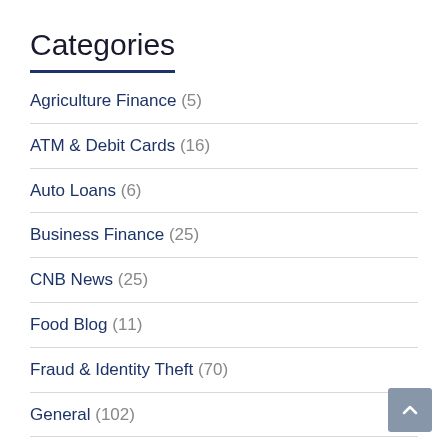Categories
Agriculture Finance (5)
ATM & Debit Cards (16)
Auto Loans (6)
Business Finance (25)
CNB News (25)
Food Blog (11)
Fraud & Identity Theft (70)
General (102)
Global Concerns (9)
Insurance (10)
Investing (15)